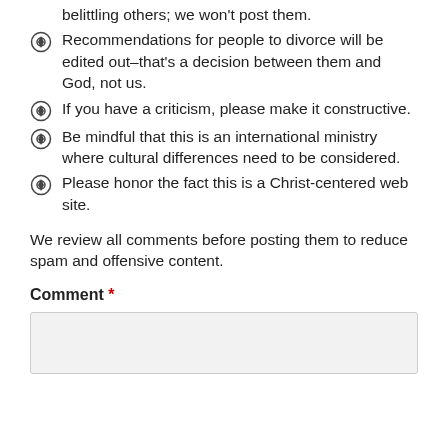belittling others; we won't post them.
Recommendations for people to divorce will be edited out–that's a decision between them and God, not us.
If you have a criticism, please make it constructive.
Be mindful that this is an international ministry where cultural differences need to be considered.
Please honor the fact this is a Christ-centered web site.
We review all comments before posting them to reduce spam and offensive content.
Comment *